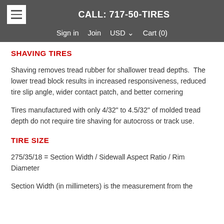CALL: 717-50-TIRES  Sign in  Join  USD  Cart (0)
SHAVING TIRES
Shaving removes tread rubber for shallower tread depths. The lower tread block results in increased responsiveness, reduced tire slip angle, wider contact patch, and better cornering
Tires manufactured with only 4/32" to 4.5/32" of molded tread depth do not require tire shaving for autocross or track use.
TIRE SIZE
275/35/18 = Section Width / Sidewall Aspect Ratio / Rim Diameter
Section Width (in millimeters) is the measurement from the